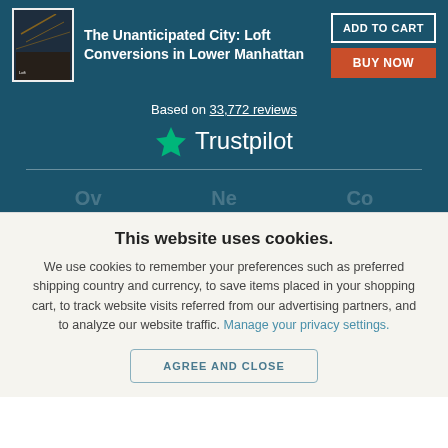[Figure (illustration): Book cover for The Unanticipated City: Loft Conversions in Lower Manhattan]
The Unanticipated City: Loft Conversions in Lower Manhattan
ADD TO CART
BUY NOW
Based on 33,772 reviews
[Figure (logo): Trustpilot logo with green star]
This website uses cookies.
We use cookies to remember your preferences such as preferred shipping country and currency, to save items placed in your shopping cart, to track website visits referred from our advertising partners, and to analyze our website traffic. Manage your privacy settings.
AGREE AND CLOSE